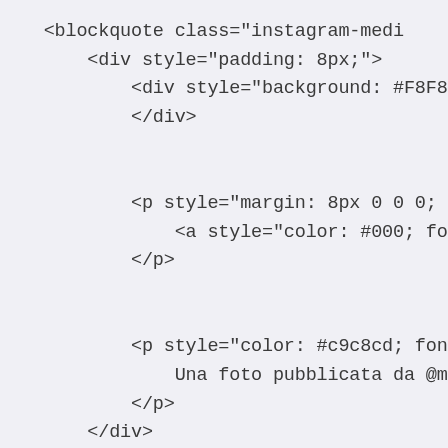<blockquote class="instagram-medi
    <div style="padding: 8px;">
        <div style="background: #F8F8
        </div>


        <p style="margin: 8px 0 0 0;
            <a style="color: #000; font
        </p>


        <p style="color: #c9c8cd; fon
            Una foto pubblicata da @mus
        </p>
    </div>
</blockquote>


<p>
    >